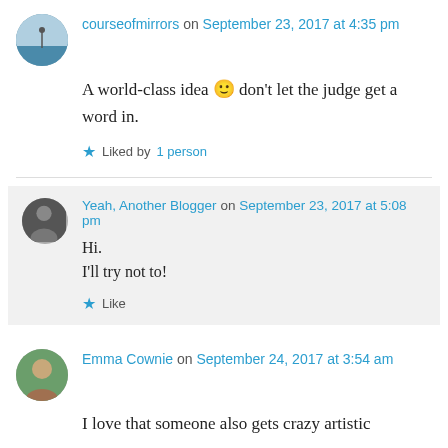courseofmirrors on September 23, 2017 at 4:35 pm
A world-class idea 🙂 don't let the judge get a word in.
Liked by 1 person
Yeah, Another Blogger on September 23, 2017 at 5:08 pm
Hi.
I'll try not to!
Like
Emma Cownie on September 24, 2017 at 3:54 am
I love that someone also gets crazy artistic